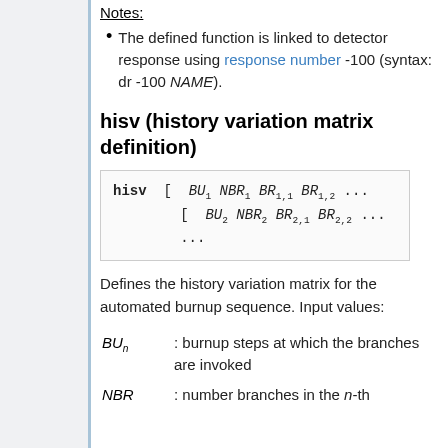Notes:
The defined function is linked to detector response using response number -100 (syntax: dr -100 NAME).
hisv (history variation matrix definition)
[Figure (other): Code syntax box showing: hisv [ BU1 NBR1 BR1,1 BR1,2 ... [ BU2 NBR2 BR2,1 BR2,2 ... ...]
Defines the history variation matrix for the automated burnup sequence. Input values:
BUn : burnup steps at which the branches are invoked
NBR : number branches in the n-th